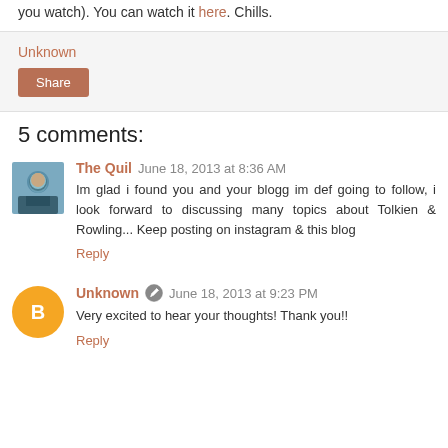you watch). You can watch it here. Chills.
Unknown
Share
5 comments:
The Quil  June 18, 2013 at 8:36 AM
Im glad i found you and your blogg im def going to follow, i look forward to discussing many topics about Tolkien & Rowling... Keep posting on instagram & this blog
Reply
Unknown  June 18, 2013 at 9:23 PM
Very excited to hear your thoughts! Thank you!!
Reply